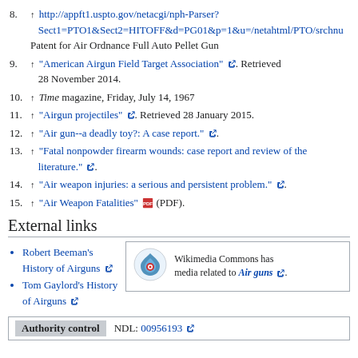8. ↑ http://appft1.uspto.gov/netacgi/nph-Parser?Sect1=PTO1&Sect2=HITOFF&d=PG01&p=1&u=/netahtml/PTO/srchn... Patent for Air Ordnance Full Auto Pellet Gun
9. ↑ "American Airgun Field Target Association". Retrieved 28 November 2014.
10. ↑ Time magazine, Friday, July 14, 1967
11. ↑ "Airgun projectiles". Retrieved 28 January 2015.
12. ↑ "Air gun--a deadly toy?: A case report.".
13. ↑ "Fatal nonpowder firearm wounds: case report and review of the literature.".
14. ↑ "Air weapon injuries: a serious and persistent problem.".
15. ↑ "Air Weapon Fatalities" (PDF).
External links
Robert Beeman's History of Airguns
Tom Gaylord's History of Airguns
[Figure (logo): Wikimedia Commons logo - blue droplet with red circle target]
Wikimedia Commons has media related to Air guns.
Authority control  NDL: 00956193